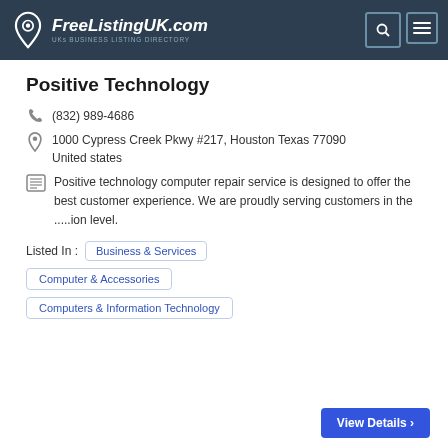FreeListingUK.com — UKs Business Listing Directory
Positive Technology
(832) 989-4686
1000 Cypress Creek Pkwy #217, Houston Texas 77090 United states
Positive technology computer repair service is designed to offer the best customer experience. We are proudly serving customers in the .....ion level.
Listed In :  Business & Services
Computer & Accessories
Computers & Information Technology
View Details ›